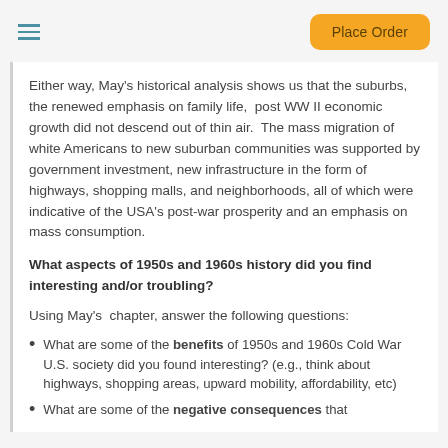Place Order
Either way, May's historical analysis shows us that the suburbs, the renewed emphasis on family life,  post WW II economic growth did not descend out of thin air.  The mass migration of white Americans to new suburban communities was supported by government investment, new infrastructure in the form of highways, shopping malls, and neighborhoods, all of which were indicative of the USA's post-war prosperity and an emphasis on mass consumption.
What aspects of 1950s and 1960s history did you find interesting and/or troubling?
Using May's  chapter, answer the following questions:
What are some of the benefits of 1950s and 1960s Cold War U.S. society did you found interesting? (e.g., think about highways, shopping areas, upward mobility, affordability, etc)
What are some of the negative consequences that